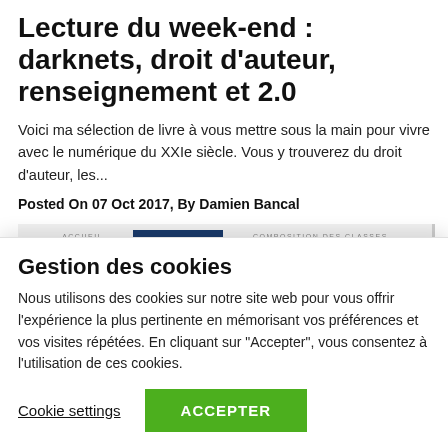Lecture du week-end : darknets, droit d'auteur, renseignement et 2.0
Voici ma sélection de livre à vous mettre sous la main pour vivre avec le numérique du XXIe siècle. Vous y trouverez du droit d'auteur, les...
Posted On 07 Oct 2017, By Damien Bancal
[Figure (screenshot): Screenshot of a webpage with dark-blue navigation bar element and a crowd photo banner underneath]
Gestion des cookies
Nous utilisons des cookies sur notre site web pour vous offrir l'expérience la plus pertinente en mémorisant vos préférences et vos visites répétées. En cliquant sur "Accepter", vous consentez à l'utilisation de ces cookies.
Cookie settings
ACCEPTER